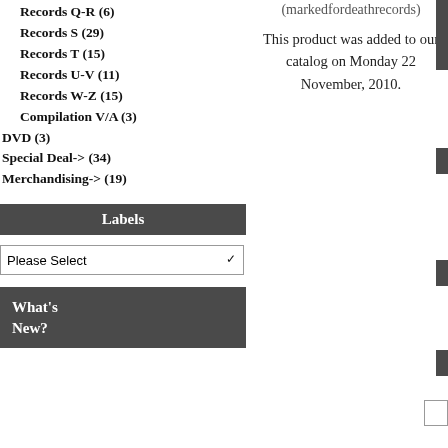Records Q-R (6)
Records S (29)
Records T (15)
Records U-V (11)
Records W-Z (15)
Compilation V/A (3)
DVD (3)
Special Deal-> (34)
Merchandising-> (19)
Labels
What's New?
(markedfordeathrecords)
This product was added to our catalog on Monday 22 November, 2010.